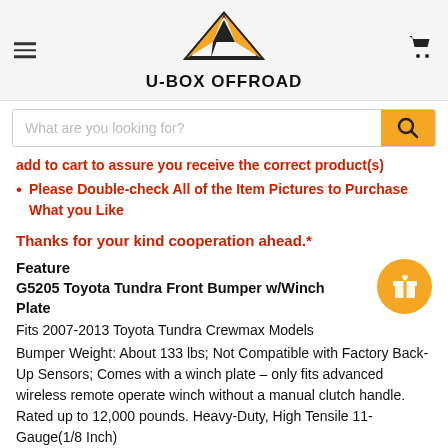U-BOX OFFROAD
add to cart to assure you receive the correct product(s)
Please Double-check All of the Item Pictures to Purchase What you Like
Thanks for your kind cooperation ahead.*
Feature
G5205 Toyota Tundra Front Bumper w/Winch Plate
Fits 2007-2013 Toyota Tundra Crewmax Models
Bumper Weight: About 133 lbs; Not Compatible with Factory Back-Up Sensors; Comes with a winch plate – only fits advanced wireless remote operate winch without a manual clutch handle. Rated up to 12,000 pounds. Heavy-Duty, High Tensile 11-Gauge(1/8 Inch)